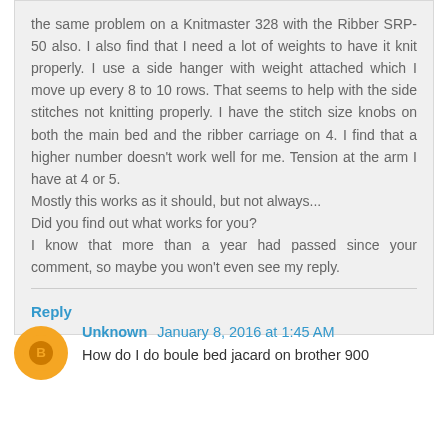the same problem on a Knitmaster 328 with the Ribber SRP-50 also. I also find that I need a lot of weights to have it knit properly. I use a side hanger with weight attached which I move up every 8 to 10 rows. That seems to help with the side stitches not knitting properly. I have the stitch size knobs on both the main bed and the ribber carriage on 4. I find that a higher number doesn't work well for me. Tension at the arm I have at 4 or 5.
Mostly this works as it should, but not always...
Did you find out what works for you?
I know that more than a year had passed since your comment, so maybe you won't even see my reply.
Reply
Unknown  January 8, 2016 at 1:45 AM
How do I do boule bed jacard on brother 900